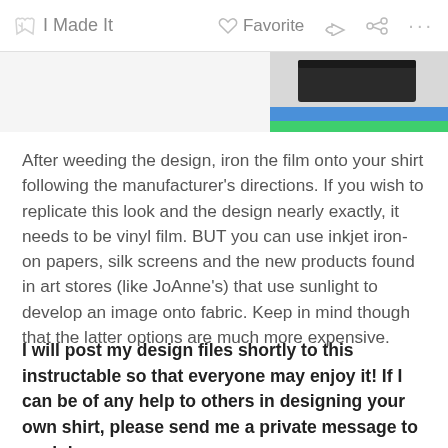I Made It  Favorite  ···
[Figure (photo): Partial photo of a shirt with vinyl design, showing blue and green layers at the bottom]
After weeding the design, iron the film onto your shirt following the manufacturer's directions. If you wish to replicate this look and the design nearly exactly, it needs to be vinyl film. BUT you can use inkjet iron-on papers, silk screens and the new products found in art stores (like JoAnne's) that use sunlight to develop an image onto fabric. Keep in mind though that the latter options are much more expensive.
I will post my design files shortly to this instructable so that everyone may enjoy it! If I can be of any help to others in designing your own shirt, please send me a private message to my inbox.